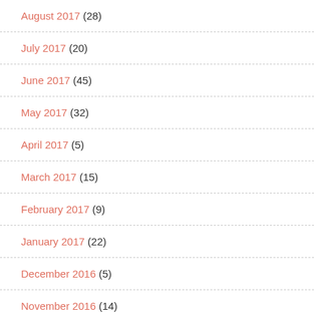August 2017 (28)
July 2017 (20)
June 2017 (45)
May 2017 (32)
April 2017 (5)
March 2017 (15)
February 2017 (9)
January 2017 (22)
December 2016 (5)
November 2016 (14)